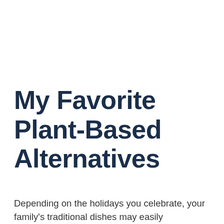My Favorite Plant-Based Alternatives
Depending on the holidays you celebrate, your family's traditional dishes may easily